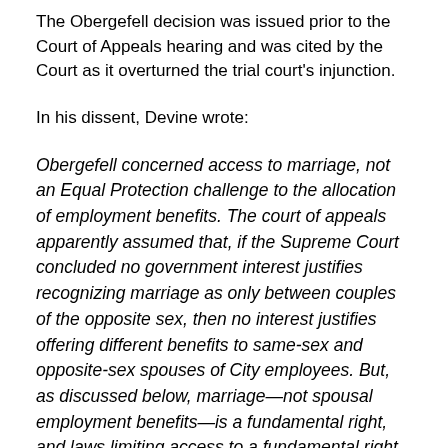The Obergefell decision was issued prior to the Court of Appeals hearing and was cited by the Court as it overturned the trial court's injunction.
In his dissent, Devine wrote:
Obergefell concerned access to marriage, not an Equal Protection challenge to the allocation of employment benefits. The court of appeals apparently assumed that, if the Supreme Court concluded no government interest justifies recognizing marriage as only between couples of the opposite sex, then no interest justifies offering different benefits to same-sex and opposite-sex spouses of City employees. But, as discussed below, marriage—not spousal employment benefits—is a fundamental right, and laws limiting access to a fundamental right receive stricter scrutiny than laws distributing government benefits. As the majority in Obergefell recognized, the Constitution...